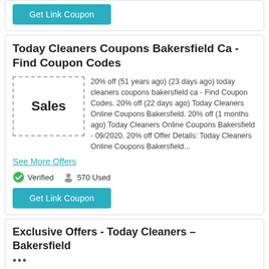[Figure (other): Get Link Coupon teal button (top, partial)]
Today Cleaners Coupons Bakersfield Ca - Find Coupon Codes
20% off (51 years ago) (23 days ago) today cleaners coupons bakersfield ca - Find Coupon Codes. 20% off (22 days ago) Today Cleaners Online Coupons Bakersfield. 20% off (1 months ago) Today Cleaners Online Coupons Bakersfield - 09/2020. 20% off Offer Details: Today Cleaners Online Coupons Bakersfield...
See More Offers
Verified   570 Used
[Figure (other): Get Link Coupon teal button]
Exclusive Offers - Today Cleaners – Bakersfield
•••
You are special to Today Cleaners! Not only do we save you time, but we are excited to save you money! Sign up and receive EXCLUSIVE/D...